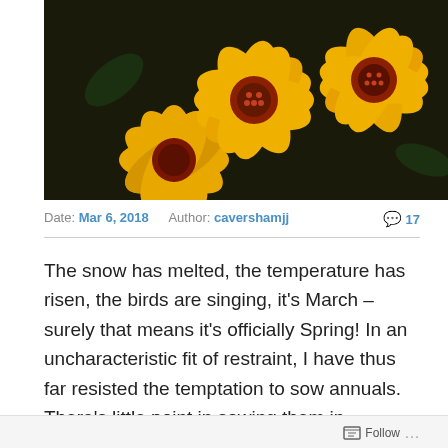[Figure (photo): Close-up photograph of yellow and dark red marigold flowers against a dark background]
Date: Mar 6, 2018  Author: cavershamjj  💬 17
The snow has melted, the temperature has risen, the birds are singing, it's March – surely that means it's officially Spring! In an uncharacteristic fit of restraint, I have thus far resisted the temptation to sow annuals. There's little point in sowing them in February, even if the packet suggests one could. Later sown seeds will catch up